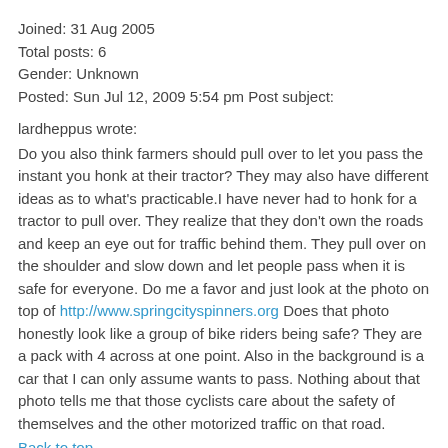Joined: 31 Aug 2005
Total posts: 6
Gender: Unknown
Posted: Sun Jul 12, 2009 5:54 pm Post subject:
lardheppus wrote:
Do you also think farmers should pull over to let you pass the instant you honk at their tractor? They may also have different ideas as to what's practicable.I have never had to honk for a tractor to pull over. They realize that they don't own the roads and keep an eye out for traffic behind them. They pull over on the shoulder and slow down and let people pass when it is safe for everyone. Do me a favor and just look at the photo on top of http://www.springcityspinners.org Does that photo honestly look like a group of bike riders being safe? They are a pack with 4 across at one point. Also in the background is a car that I can only assume wants to pass. Nothing about that photo tells me that those cyclists care about the safety of themselves and the other motorized traffic on that road.
Back to top